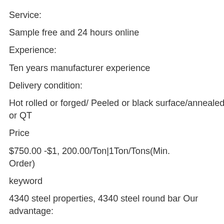Service:
Sample free and 24 hours online
Experience:
Ten years manufacturer experience
Delivery condition:
Hot rolled or forged/ Peeled or black surface/annealed or QT
Price
$750.00 -$1, 200.00/Ton|1Ton/Tons(Min. Order)
keyword
4340 steel properties, 4340 steel round bar Our advantage:
1 - Focus on the steel industry for more than ten years